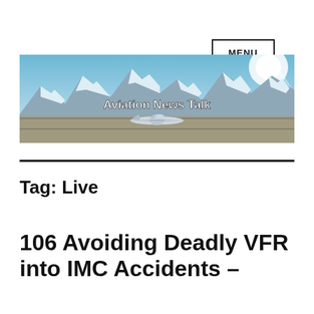MENU
[Figure (illustration): Aviation News Talk banner image showing a small aircraft on a runway with snow-capped mountains in the background and bright sky. White bold text reads 'Aviation News Talk'.]
Tag: Live
106 Avoiding Deadly VFR into IMC Accidents –